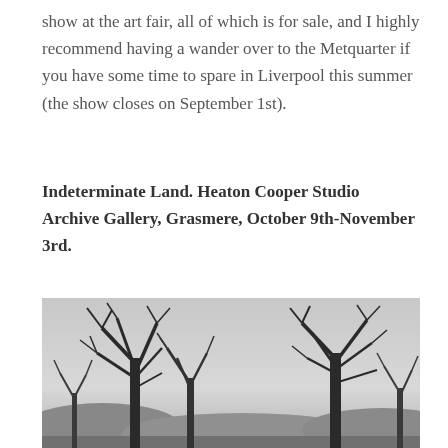show at the art fair, all of which is for sale, and I highly recommend having a wander over to the Metquarter if you have some time to spare in Liverpool this summer (the show closes on September 1st).
Indeterminate Land. Heaton Cooper Studio Archive Gallery, Grasmere, October 9th-November 3rd.
[Figure (photo): Black and white photograph of bare winter trees silhouetted against a pale grey sky, with low hills or landscape in the background.]